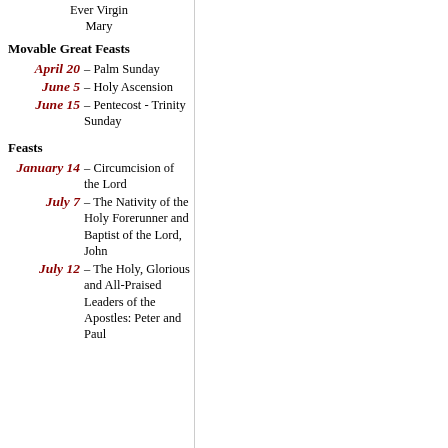Ever Virgin Mary
Movable Great Feasts
April 20 – Palm Sunday
June 5 – Holy Ascension
June 15 – Pentecost - Trinity Sunday
Feasts
January 14 – Circumcision of the Lord
July 7 – The Nativity of the Holy Forerunner and Baptist of the Lord, John
July 12 – The Holy, Glorious and All-Praised Leaders of the Apostles: Peter and Paul